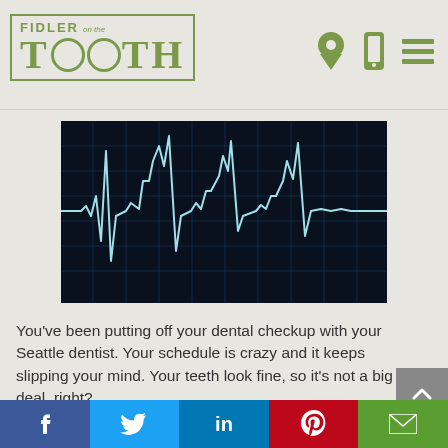FIDLER on the TOOTH
[Figure (continuous-plot): EKG/ECG heartbeat monitor waveform showing light blue cardiac rhythm line on dark navy grid background]
You've been putting off your dental checkup with your Seattle dentist. Your schedule is crazy and it keeps slipping your mind. Your teeth look fine, so it's not a big deal, right?
Actually, putting off those dental checkups could
Social share buttons: Facebook, Twitter, LinkedIn, Pinterest, Email